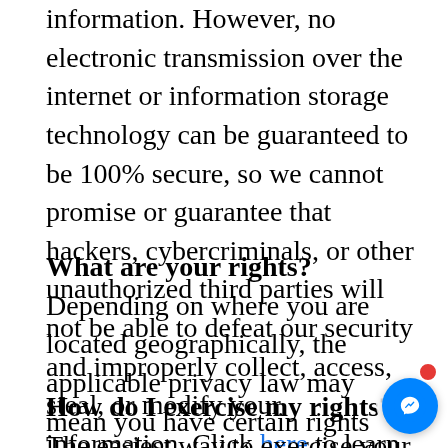information. However, no electronic transmission over the internet or information storage technology can be guaranteed to be 100% secure, so we cannot promise or guarantee that hackers, cybercriminals, or other unauthorized third parties will not be able to defeat our security and improperly collect, access, steal, or modify your information. Click here to learn more.
What are your rights? Depending on where you are located geographically, the applicable privacy law may mean you have certain rights regarding your personal information. Click here to learn more.
How do I exercise my rights? The easiest way to exercise your rights is by filling out our data subject request form available here: dreamcatchercourse.com/contact , or by contacting us. We will consider and act upon any request in